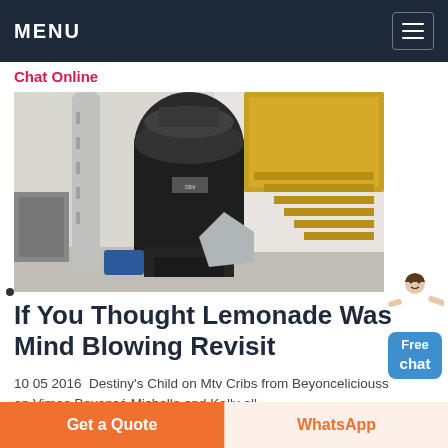MENU
Chat Online
[Figure (photo): Industrial grinding mill machine inside a factory building with yellow metal stairs and railings in the background]
If You Thought Lemonade Was Mind Blowing Revisit
10 05 2016  Destiny's Child on Mtv Cribs from Beyonceliciouss on Vimeo Beyoncé Michelle and Kelly all
Get a Quote
WhatsApp